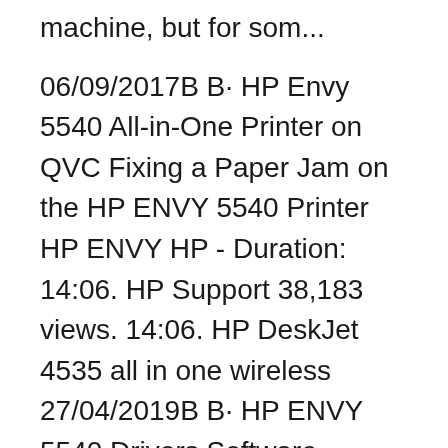machine, but for som...
06/09/2017B B· HP Envy 5540 All-in-One Printer on QVC Fixing a Paper Jam on the HP ENVY 5540 Printer HP ENVY HP - Duration: 14:06. HP Support 38,183 views. 14:06. HP DeskJet 4535 all in one wireless 27/04/2019B B· HP ENVY 5540 Drivers Software Download. Before downloading driver software, we recommended to check the printer series, you may find printer type and series on the printer label or on the box of the printer from HP (Hewlett-Packard) manufacture, once you got it you can download the drivers on the following links.